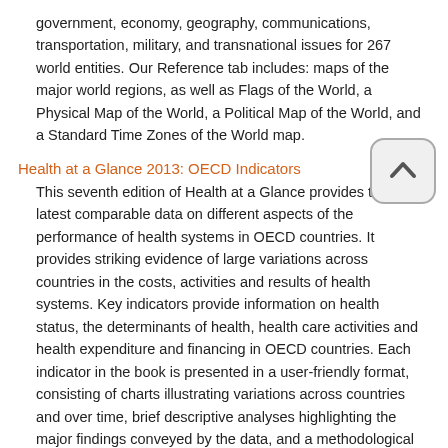government, economy, geography, communications, transportation, military, and transnational issues for 267 world entities. Our Reference tab includes: maps of the major world regions, as well as Flags of the World, a Physical Map of the World, a Political Map of the World, and a Standard Time Zones of the World map.
Health at a Glance 2013: OECD Indicators
This seventh edition of Health at a Glance provides the latest comparable data on different aspects of the performance of health systems in OECD countries. It provides striking evidence of large variations across countries in the costs, activities and results of health systems. Key indicators provide information on health status, the determinants of health, health care activities and health expenditure and financing in OECD countries. Each indicator in the book is presented in a user-friendly format, consisting of charts illustrating variations across countries and over time, brief descriptive analyses highlighting the major findings conveyed by the data, and a methodological box on the definition of the indicator and any limitations in data comparability.
Measuring the U.S. Health Care System: A Cross-National